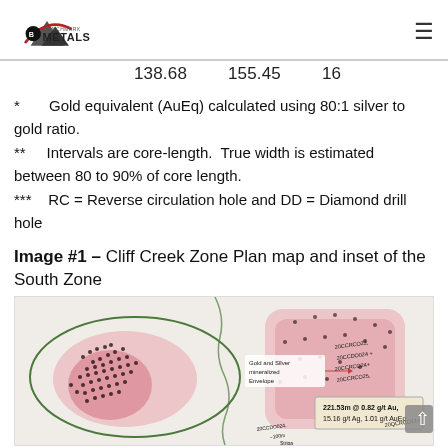Benchmark Metals
| 138.68 | 155.45 | 16 |
* Gold equivalent (AuEq) calculated using 80:1 silver to gold ratio.
** Intervals are core-length. True width is estimated between 80 to 90% of core length.
*** RC = Reverse circulation hole and DD = Diamond drill hole
Image #1 – Cliff Creek Zone Plan map and inset of the South Zone
[Figure (map): Cliff Creek Zone Plan map and inset of the South Zone showing gold and silver mineralized envelope, drill holes including 20CCRCO22, 20CCDO024, 20CCRCO24, 20CCRCO25, 20CCDO024, 20QCRCO11. Annotation: 221.53m @ 0.82 g/t Au, 15.16 g/t Ag, 1.01 g/t AuEq]